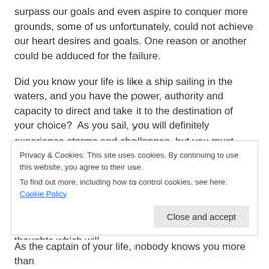surpass our goals and even aspire to conquer more grounds, some of us unfortunately, could not achieve our heart desires and goals. One reason or another could be adduced for the failure.
Did you know your life is like a ship sailing in the waters, and you have the power, authority and capacity to direct and take it to the destination of your choice?  As you sail, you will definitely experience storms and challenges, but you must endeavour to take absolute charge. If you don't, there is the tendency that things might end disastrously.
To prepare your ship, you need to have your crew onboard. Imagine your crew as your mind and thoughts which will
Privacy & Cookies: This site uses cookies. By continuing to use this website, you agree to their use.
To find out more, including how to control cookies, see here: Cookie Policy
As the captain of your life, nobody knows you more than